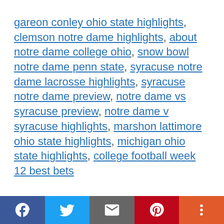gareon conley ohio state highlights, clemson notre dame highlights, about notre dame college ohio, snow bowl notre dame penn state, syracuse notre dame lacrosse highlights, syracuse notre dame preview, notre dame vs syracuse preview, notre dame v syracuse highlights, marshon lattimore ohio state highlights, michigan ohio state highlights, college football week 12 best bets
[Figure (other): Social sharing bar with Facebook, Twitter, Email, Pinterest, and More buttons]